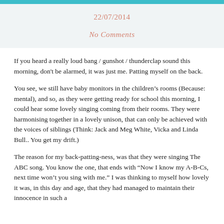22/07/2014
No Comments
If you heard a really loud bang / gunshot / thunderclap sound this morning, don't be alarmed, it was just me.  Patting myself on the back.
You see, we still have baby monitors in the children’s rooms (Because: mental), and so, as they were getting ready for school this morning, I could hear some lovely singing coming from their rooms.  They were harmonising together in a lovely unison, that can only be achieved with the voices of siblings (Think: Jack and Meg White, Vicka and Linda Bull.. You get my drift.)
The reason for my back-patting-ness, was that they were singing The ABC song.  You know the one, that ends with “Now I know my A-B-Cs, next time won’t you sing with me.”  I was thinking to myself how lovely it was, in this day and age, that they had managed to maintain their innocence in such a